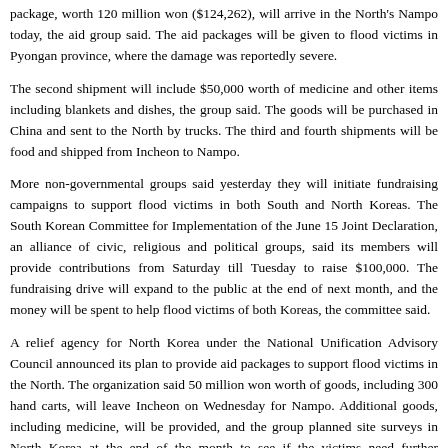package, worth 120 million won ($124,262), will arrive in the North's Nampo today, the aid group said. The aid packages will be given to flood victims in Pyongan province, where the damage was reportedly severe.
The second shipment will include $50,000 worth of medicine and other items including blankets and dishes, the group said. The goods will be purchased in China and sent to the North by trucks. The third and fourth shipments will be food and shipped from Incheon to Nampo.
More non-governmental groups said yesterday they will initiate fundraising campaigns to support flood victims in both South and North Koreas. The South Korean Committee for Implementation of the June 15 Joint Declaration, an alliance of civic, religious and political groups, said its members will provide contributions from Saturday till Tuesday to raise $100,000. The fundraising drive will expand to the public at the end of next month, and the money will be spent to help flood victims of both Koreas, the committee said.
A relief agency for North Korea under the National Unification Advisory Council announced its plan to provide aid packages to support flood victims in the North. The organization said 50 million won worth of goods, including 300 hand carts, will leave Incheon on Wednesday for Nampo. Additional goods, including medicine, will be provided, and the group planned site surveys in North Korea at the end of the month to see if the victims need further assistance, the group said.
The United Nations and the Red Cross were conservative about the North's casualties after the July floods. The United Nations estimated at least 154 North Koreans were killed and 127 missing, while the Red Cross said 141 were killed and another 1 missing. A South Korean civic group said earlier this week that up to 10